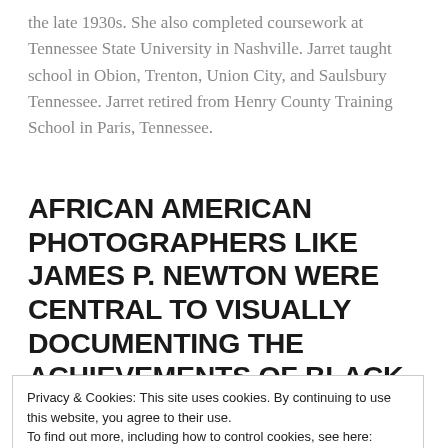the late 1930s. She also completed coursework at Tennessee State University in Nashville. Jarret taught school in Obion, Trenton, Union City, and Saulsbury Tennessee. Jarret retired from Henry County Training School in Paris, Tennessee.
AFRICAN AMERICAN PHOTOGRAPHERS LIKE JAMES P. NEWTON WERE CENTRAL TO VISUALLY DOCUMENTING THE ACHIEVEMENTS OF BLACK AMERICANS LIKE MRS. JARRET.
Privacy & Cookies: This site uses cookies. By continuing to use this website, you agree to their use.
To find out more, including how to control cookies, see here: Cookie Policy
Close and accept